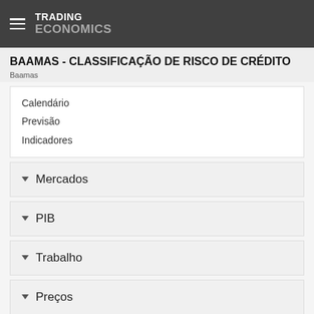TRADING ECONOMICS
BAAMAS - CLASSIFICAÇÃO DE RISCO DE CRÉDITO
Baamas
Calendário
Previsão
Indicadores
Mercados
PIB
Trabalho
Preços
Saúde